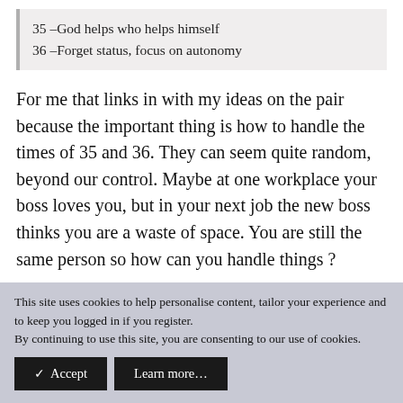35 –God helps who helps himself
36 –Forget status, focus on autonomy
For me that links in with my ideas on the pair because the important thing is how to handle the times of 35 and 36. They can seem quite random, beyond our control. Maybe at one workplace your boss loves you, but in your next job the new boss thinks you are a waste of space. You are still the same person so how can you handle things?
In 35 the advice is to make the most of opportunities
This site uses cookies to help personalise content, tailor your experience and to keep you logged in if you register.
By continuing to use this site, you are consenting to our use of cookies.